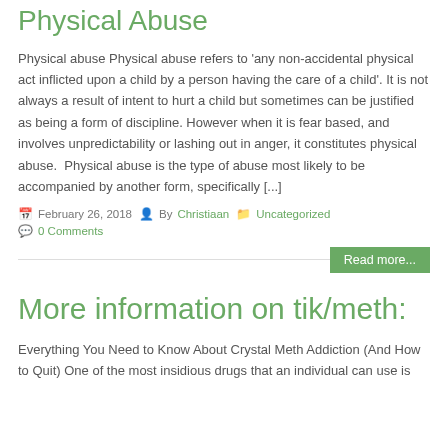Physical Abuse
Physical abuse Physical abuse refers to 'any non-accidental physical act inflicted upon a child by a person having the care of a child'. It is not always a result of intent to hurt a child but sometimes can be justified as being a form of discipline. However when it is fear based, and involves unpredictability or lashing out in anger, it constitutes physical abuse.  Physical abuse is the type of abuse most likely to be accompanied by another form, specifically [...]
February 26, 2018   By Christiaan   Uncategorized
0 Comments
Read more...
More information on tik/meth:
Everything You Need to Know About Crystal Meth Addiction (And How to Quit) One of the most insidious drugs that an individual can use is